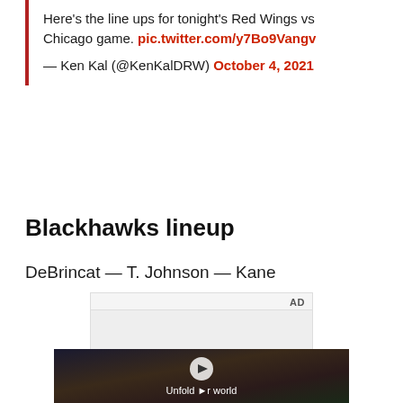Here's the line ups for tonight's Red Wings vs Chicago game. pic.twitter.com/y7Bo9Vangv

— Ken Kal (@KenKalDRW) October 4, 2021
Blackhawks lineup
DeBrincat — T. Johnson — Kane
[Figure (other): Advertisement placeholder with gray area labeled AD, followed by a video player showing a Samsung advertisement with text 'Unfold your world' and a play button overlay]